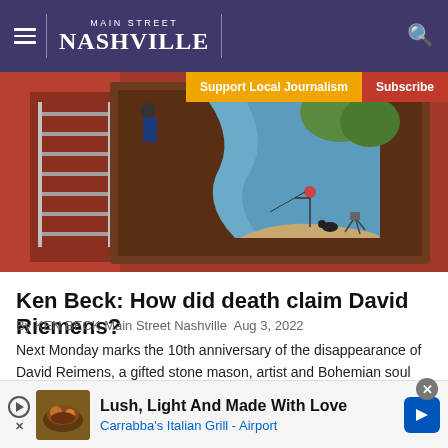MAIN STREET NASHVILLE
[Figure (photo): A framed painting displayed against a red brick wall. The painting shows a river or stream scene with a figure fishing, a dog, and what appears to be a ladder or staircase on the left side against a red building.]
Ken Beck: How did death claim David Riemens?
By KEN BECK Main Street Nashville  Aug 3, 2022
Next Monday marks the 10th anniversary of the disappearance of David Reimens, a gifted stone mason, artist and Bohemian soul who made his home in a tree house between Watertown and Shop Springs.
[Figure (infographic): Advertisement banner: Lush, Light And Made With Love — Carrabba's Italian Grill - Airport. Shows a food image on the left and a navigation arrow icon on the right.]